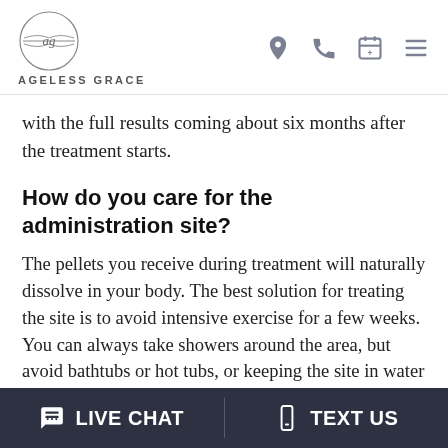AGELESS GRACE
with the full results coming about six months after the treatment starts.
How do you care for the administration site?
The pellets you receive during treatment will naturally dissolve in your body. The best solution for treating the site is to avoid intensive exercise for a few weeks. You can always take showers around the area, but avoid bathtubs or hot tubs, or keeping the site in water for too long.
You can resume regular exercises and activities after the...
LIVE CHAT  TEXT US